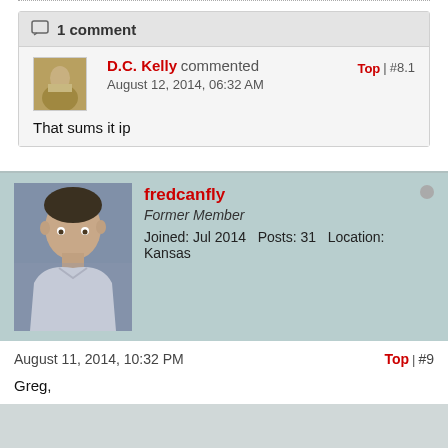1 comment
D.C. Kelly commented August 12, 2014, 06:32 AM | Top | #8.1
That sums it ip
fredcanfly
Former Member
Joined: Jul 2014   Posts: 31   Location: Kansas
August 11, 2014, 10:32 PM | Top | #9
Greg,